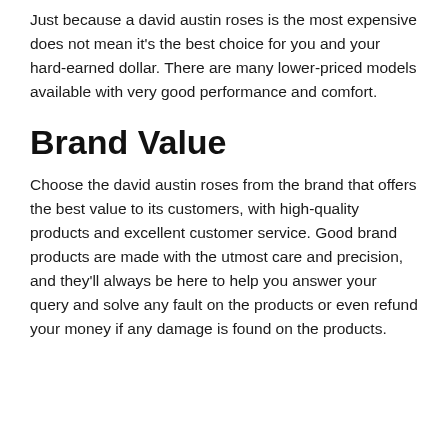Just because a david austin roses is the most expensive does not mean it's the best choice for you and your hard-earned dollar. There are many lower-priced models available with very good performance and comfort.
Brand Value
Choose the david austin roses from the brand that offers the best value to its customers, with high-quality products and excellent customer service. Good brand products are made with the utmost care and precision, and they'll always be here to help you answer your query and solve any fault on the products or even refund your money if any damage is found on the products.